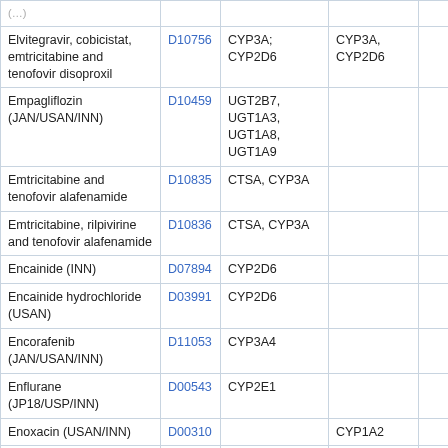| Drug name | ID | Substrate | Inhibitor |  |
| --- | --- | --- | --- | --- |
| (…) |  |  |  |  |
| Elvitegravir, cobicistat, emtricitabine and tenofovir disoproxil | D10756 | CYP3A; CYP2D6 | CYP3A, CYP2D6 |  |
| Empagliflozin (JAN/USAN/INN) | D10459 | UGT2B7, UGT1A3, UGT1A8, UGT1A9 |  |  |
| Emtricitabine and tenofovir alafenamide | D10835 | CTSA, CYP3A |  |  |
| Emtricitabine, rilpivirine and tenofovir alafenamide | D10836 | CTSA, CYP3A |  |  |
| Encainide (INN) | D07894 | CYP2D6 |  |  |
| Encainide hydrochloride (USAN) | D03991 | CYP2D6 |  |  |
| Encorafenib (JAN/USAN/INN) | D11053 | CYP3A4 |  |  |
| Enflurane (JP18/USP/INN) | D00543 | CYP2E1 |  |  |
| Enoxacin (USAN/INN) | D00310 |  | CYP1A2 |  |
| Enoxacin hydrate (JP18) | D05461 |  | CYP1A2 |  |
| Entacapone (JP18/USP/INN) | D00781 |  | CYP2C9, COMT |  |
| Entrectinib (JAN/USAN/INN) | D10926 | CYP3A4 | CYP3A |  |
| Epacadostat… |  | CYP3A… |  |  |